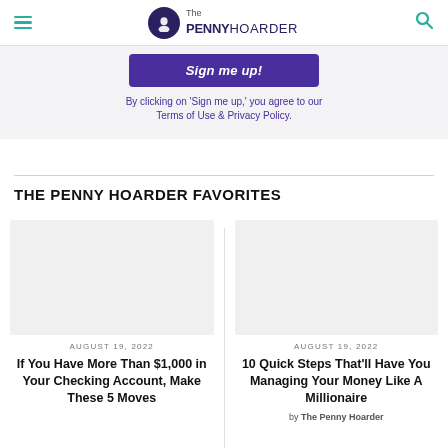The PENNY HOARDER
Sign me up!
By clicking on 'Sign me up,' you agree to our Terms of Use & Privacy Policy.
THE PENNY HOARDER FAVORITES
[Figure (illustration): Blank image placeholder for article thumbnail]
AUGUST 19, 2022
If You Have More Than $1,000 in Your Checking Account, Make These 5 Moves
[Figure (illustration): Blank image placeholder for article thumbnail]
AUGUST 19, 2022
10 Quick Steps That'll Have You Managing Your Money Like A Millionaire
by The Penny Hoarder